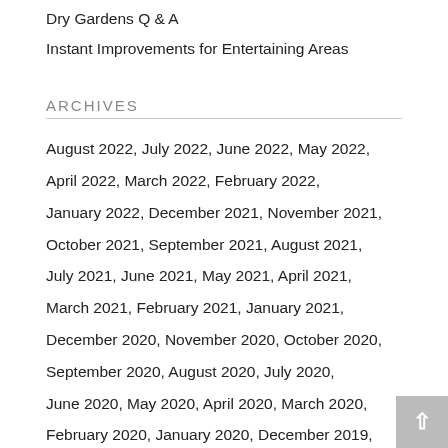Dry Gardens Q & A
Instant Improvements for Entertaining Areas
ARCHIVES
August 2022, July 2022, June 2022, May 2022, April 2022, March 2022, February 2022, January 2022, December 2021, November 2021, October 2021, September 2021, August 2021, July 2021, June 2021, May 2021, April 2021, March 2021, February 2021, January 2021, December 2020, November 2020, October 2020, September 2020, August 2020, July 2020, June 2020, May 2020, April 2020, March 2020, February 2020, January 2020, December 2019, November 2019, October 2019, September 2019